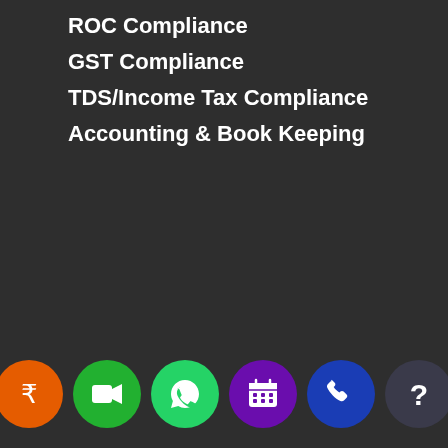ROC Compliance
GST Compliance
TDS/Income Tax Compliance
Accounting & Book Keeping
[Figure (infographic): Bottom navigation bar with 6 circular icon buttons: orange Rupee icon, dark green video camera icon, light green WhatsApp icon, purple calendar icon, blue phone icon, dark grey question mark icon]